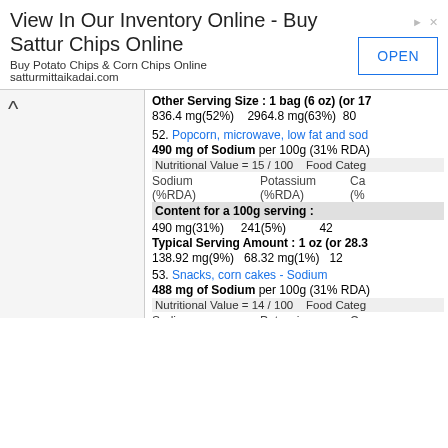[Figure (screenshot): Advertisement banner for Sattur Chips Online with OPEN button]
Other Serving Size : 1 bag (6 oz) (or 17...
836.4 mg(52%)   2964.8 mg(63%)   80...
52. Popcorn, microwave, low fat and sod...
490 mg of Sodium per 100g (31% RDA)
Nutritional Value = 15 / 100   Food Categ...
Sodium (%RDA)   Potassium (%RDA)   Ca (%...
Content for a 100g serving :
490 mg(31%)   241(5%)   42...
Typical Serving Amount : 1 oz (or 28.3...
138.92 mg(9%)   68.32 mg(1%)   12...
53. Snacks, corn cakes - Sodium
488 mg of Sodium per 100g (31% RDA)
Nutritional Value = 14 / 100   Food Categ...
Sodium (%RDA)   Potassium (%RDA)   Ca (%...
Content for a 100g serving :
488 mg(31%)   157(3%)   38...
Typical Serving Amount : 1 cake (or 9g...
43.92 mg(3%)   14.13 mg(1%)...